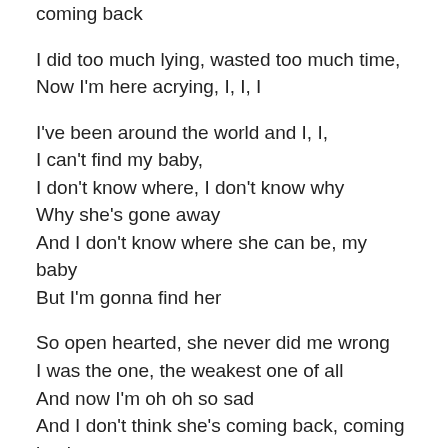coming back
I did too much lying, wasted too much time,
Now I'm here acrying, I, I, I
I've been around the world and I, I,
I can't find my baby,
I don't know where, I don't know why
Why she's gone away
And I don't know where she can be, my baby
But I'm gonna find her
So open hearted, she never did me wrong
I was the one, the weakest one of all
And now I'm oh oh so sad
And I don't think she's coming back, coming back